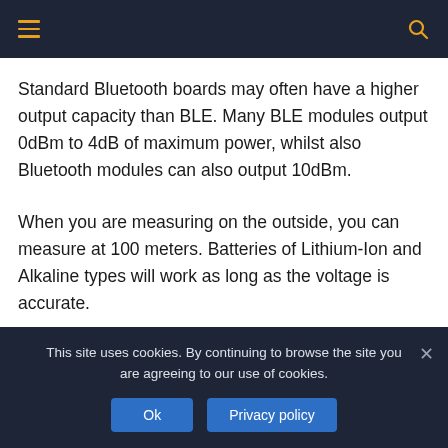Navigation bar with hamburger menu and search icon
Standard Bluetooth boards may often have a higher output capacity than BLE. Many BLE modules output 0dBm to 4dB of maximum power, whilst also Bluetooth modules can also output 10dBm.
When you are measuring on the outside, you can measure at 100 meters. Batteries of Lithium-Ion and Alkaline types will work as long as the voltage is accurate.
This site uses cookies. By continuing to browse the site you are agreeing to our use of cookies.